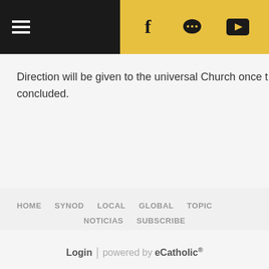Navigation header with hamburger menu and social icons (Facebook, chat, YouTube) on gold background
Direction will be given to the universal Church once t… concluded.
HOME   SYNOD   LOCAL   GLOBAL   TOPICS   NOTICIAS   SUBSCRIBE
Login | powered by eCatholic®